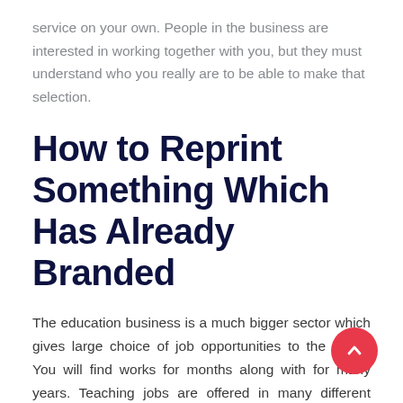service on your own. People in the business are interested in working together with you, but they must understand who you really are to be able to make that selection.
How to Reprint Something Which Has Already Branded
The education business is a much bigger sector which gives large choice of job opportunities to the youth. You will find works for months along with for many years. Teaching jobs are offered in many different nations on earth. The task of a security guard isn't as simple as it may sound. It is likely to combine the job and continue with your training too. Finding digital advertising work in Bangalore or a different place in the nation is not overly hard, but is not